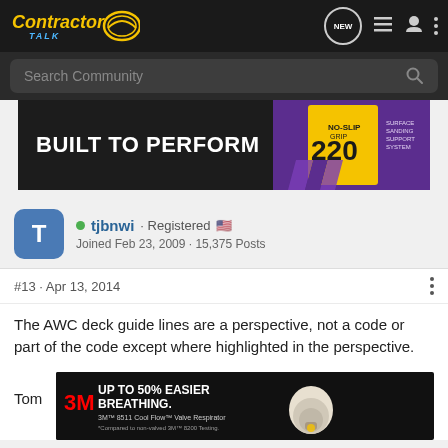Contractor Talk — NEW navigation icons
Search Community
[Figure (photo): Advertisement banner: 'BUILT TO PERFORM' with product image showing 220 sandpaper, purple background]
tjbnwi · Registered
Joined Feb 23, 2009 · 15,375 Posts
#13 · Apr 13, 2014
The AWC deck guide lines are a perspective, not a code or part of the code except where highlighted in the perspective.
Tom
[Figure (photo): 3M advertisement: UP TO 50% EASIER BREATHING. 3M 8511 Cool Flow Valve Respirator. *Compared to non-valved 3M 8200 Testing.]